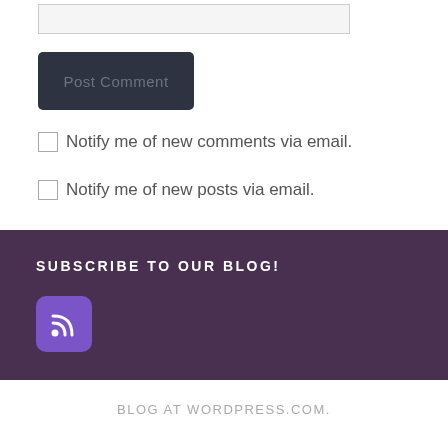[Figure (other): Text input field (empty)]
[Figure (other): Post Comment button (dark rounded rectangle)]
Notify me of new comments via email.
Notify me of new posts via email.
SUBSCRIBE TO OUR BLOG!
[Figure (other): RSS feed icon button (purple rounded square with RSS symbol)]
BLOG AT WORDPRESS.COM.